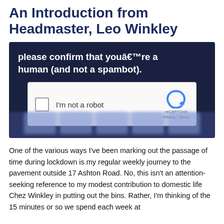An Introduction from Headmaster, Leo Winkley
[Figure (screenshot): A reCAPTCHA verification screenshot overlaid on a dark navy background. Text reads: 'please confirm that youâ€™re a human (and not a spambot).' Below is a reCAPTCHA widget box with a checkbox labeled 'I'm not a robot' and the reCAPTCHA logo with 'Privacy - Terms'. The bottom portion shows blurred/redacted content.]
One of the various ways I've been marking out the passage of time during lockdown is my regular weekly journey to the pavement outside 17 Ashton Road.  No, this isn't an attention-seeking reference to my modest contribution to domestic life Chez Winkley in putting out the bins.  Rather, I'm thinking of the 15 minutes or so we spend each week at